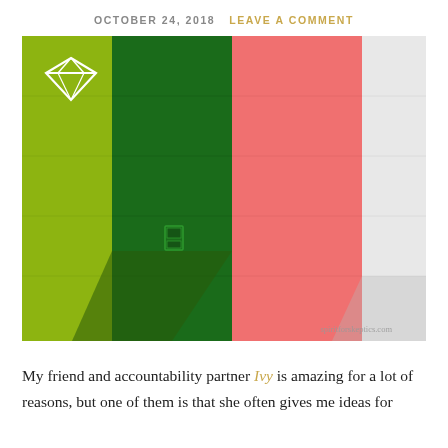OCTOBER 24, 2018   LEAVE A COMMENT
[Figure (photo): Colorful painted brick wall divided into vertical sections: yellow-green on left, dark green in middle-left, salmon/coral pink in middle-right, and white on right. A small green electrical box is mounted on the dark green section. Watermark reads spiritforskeptics.com. A white diamond icon appears in the upper-left corner.]
My friend and accountability partner Ivy is amazing for a lot of reasons, but one of them is that she often gives me ideas for